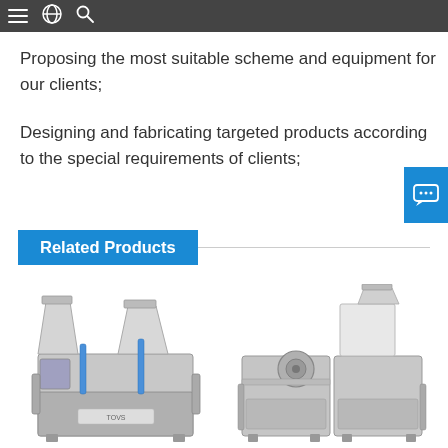navigation bar with menu, globe, and search icons
Proposing the most suitable scheme and equipment for our clients;
Designing and fabricating targeted products according to the special requirements of clients;
Related Products
[Figure (photo): Industrial chemical dosing or polymer preparation machine, stainless steel, with hoppers on top, left unit]
[Figure (photo): Industrial chemical dosing or polymer preparation machine, stainless steel, with hopper and control panel on top, right unit]